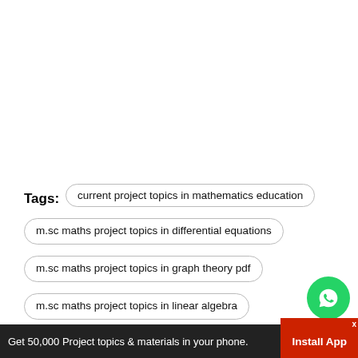Tags: current project topics in mathematics education
m.sc maths project topics in differential equations
m.sc maths project topics in graph theory pdf
m.sc maths project topics in linear algebra
m.sc maths project topics in topology pdf
m.sc project topics in maths
maths project topics in algebra
msc maths project topics
Get 50,000 Project topics & materials in your phone. Install App x